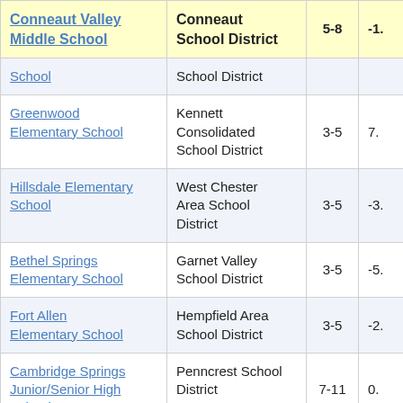| School | District | Grades | Score |
| --- | --- | --- | --- |
| Conneaut Valley Middle School | Conneaut School District | 5-8 | -1. |
| School | School District |  |  |
| Greenwood Elementary School | Kennett Consolidated School District | 3-5 | 7. |
| Hillsdale Elementary School | West Chester Area School District | 3-5 | -3. |
| Bethel Springs Elementary School | Garnet Valley School District | 3-5 | -5. |
| Fort Allen Elementary School | Hempfield Area School District | 3-5 | -2. |
| Cambridge Springs Junior/Senior High School | Penncrest School District | 7-11 | 0. |
| Shiloh Hills Elementary School | Wilson School District | 3-5 | -3. |